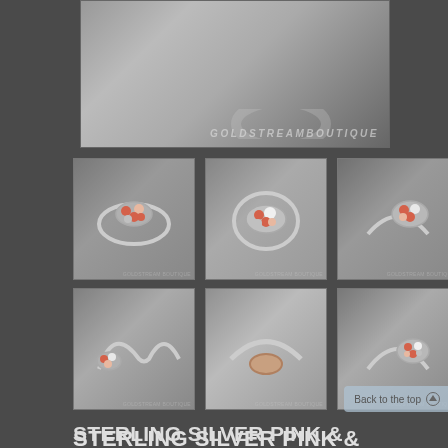[Figure (photo): Main product photo of sterling silver bangle bracelet with GOLDSTREAMBOUTIQUE watermark]
[Figure (photo): Grid of 6 thumbnail photos showing the sterling silver pink & red coral mother of pearl opening bangle bracelet from different angles]
STERLING SILVER PINK & RED CORAL MOTHER OF PEARL OPENING BANGLE BRACELET
$ 104.95